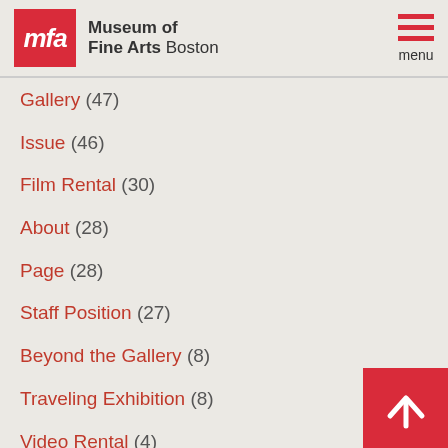[Figure (logo): Museum of Fine Arts Boston logo with red MFA square and text]
Gallery (47)
Issue (46)
Film Rental (30)
About (28)
Page (28)
Staff Position (27)
Beyond the Gallery (8)
Traveling Exhibition (8)
Video Rental (4)
Hardcover (3)
Product (1)